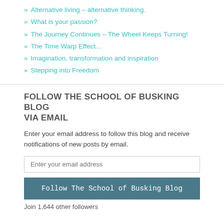Alternative living – alternative thinking.
What is your passion?
The Journey Continues – The Wheel Keeps Turning!
The Time Warp Effect…
Imagination, transformation and inspiration
Stepping into Freedom
FOLLOW THE SCHOOL OF BUSKING BLOG VIA EMAIL
Enter your email address to follow this blog and receive notifications of new posts by email.
Join 1,644 other followers